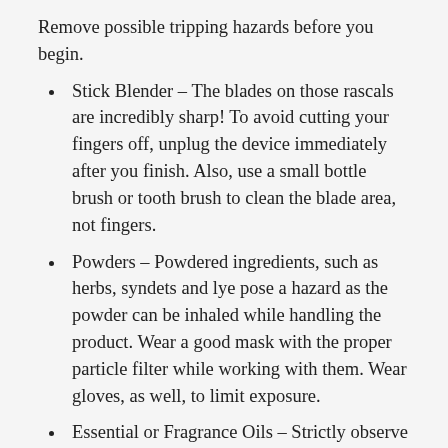Remove possible tripping hazards before you begin.
Stick Blender – The blades on those rascals are incredibly sharp! To avoid cutting your fingers off, unplug the device immediately after you finish. Also, use a small bottle brush or tooth brush to clean the blade area, not fingers.
Powders – Powdered ingredients, such as herbs, syndets and lye pose a hazard as the powder can be inhaled while handling the product. Wear a good mask with the proper particle filter while working with them. Wear gloves, as well, to limit exposure.
Essential or Fragrance Oils – Strictly observe given usage rates; wear gloves and a mask